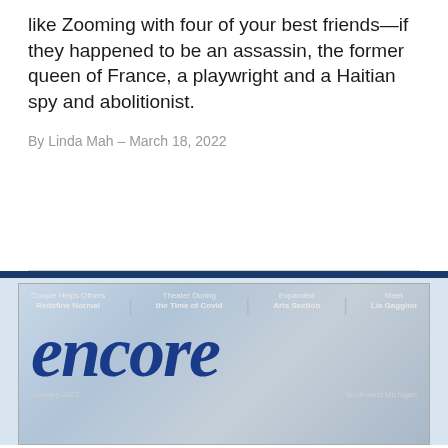like Zooming with four of your best friends—if they happened to be an assassin, the former queen of France, a playwright and a Haitian spy and abolitionist.
By Linda Mah – March 18, 2022
[Figure (photo): Cover of Encore magazine showing the title 'encore' in large bold italic blue serif font. Header bar shows: 'Couple Helps Others Redefine Normal', 'Theater During the Time of Covid', 'Expanded Arts Section', 'Meet Lia Gaggino'. Background is a blurred nature/outdoor scene. Bottom text partially visible: 'January 2022' and 'Southwest Michigan'.]